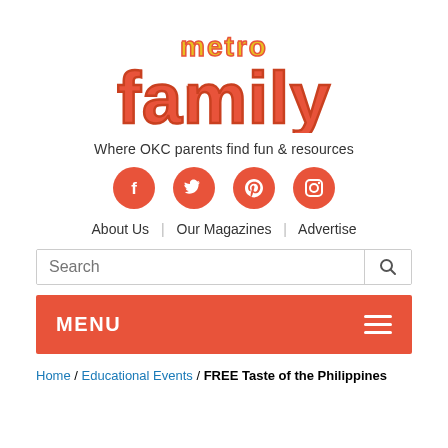[Figure (logo): Metro Family magazine logo with 'metro' in yellow and 'family' in orange-red large text]
Where OKC parents find fun & resources
[Figure (infographic): Four orange circular social media icons: Facebook, Twitter, Pinterest, Instagram]
About Us  |  Our Magazines  |  Advertise
Search
MENU
Home / Educational Events / FREE Taste of the Philippines